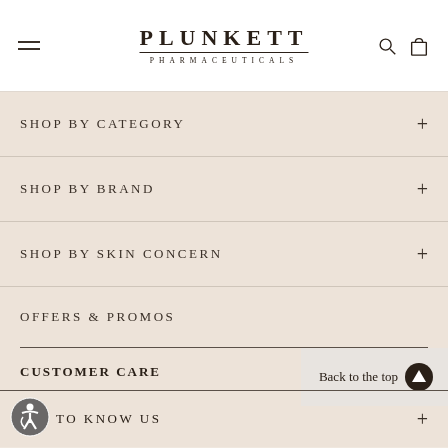PLUNKETT PHARMACEUTICALS
SHOP BY CATEGORY
SHOP BY BRAND
SHOP BY SKIN CONCERN
OFFERS & PROMOS
CUSTOMER CARE
Back to the top
TO KNOW US